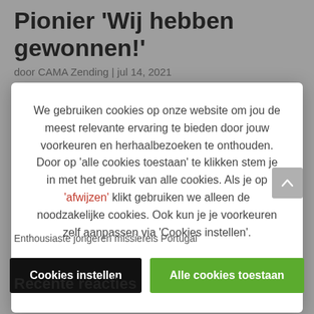Pionier 'Wij hebben gewonnen!'
door CAMA Zending | jul 14, 2021
We gebruiken cookies op onze website om jou de meest relevante ervaring te bieden door jouw voorkeuren en herhaalbezoeken te onthouden. Door op 'alle cookies toestaan' te klikken stem je in met het gebruik van alle cookies. Als je op 'afwijzen' klikt gebruiken we alleen de noodzakelijke cookies. Ook kun je je voorkeuren zelf aanpassen via 'Cookies instellen'.
Enthousiaste jongeren missiereis Portugal
Recente reacties